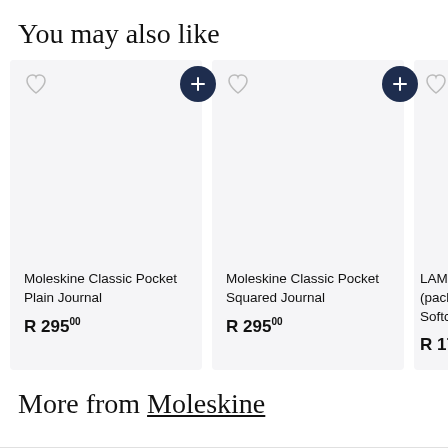You may also like
Moleskine Classic Pocket Plain Journal
R 295.00
Moleskine Classic Pocket Squared Journal
R 295.00
LAMY (pack Softco
R 179...
More from Moleskine